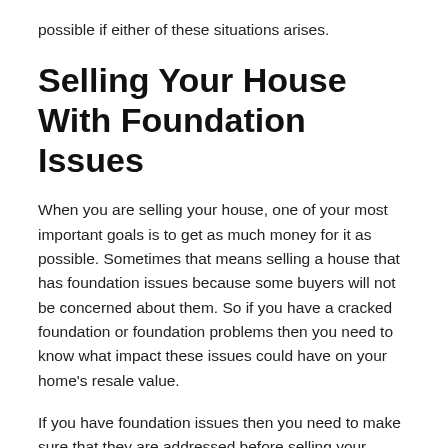possible if either of these situations arises.
Selling Your House With Foundation Issues
When you are selling your house, one of your most important goals is to get as much money for it as possible. Sometimes that means selling a house that has foundation issues because some buyers will not be concerned about them. So if you have a cracked foundation or foundation problems then you need to know what impact these issues could have on your home's resale value.
If you have foundation issues then you need to make sure that they are addressed before selling your home. If you fail to fix them or ignore them entirely then it could